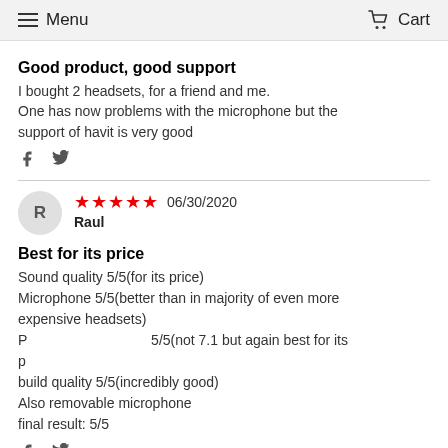Menu   Cart
Good product, good support
I bought 2 headsets, for a friend and me.
One has now problems with the microphone but the support of havit is very good
[Figure (infographic): Facebook and Twitter share icons]
[Figure (infographic): 5 red stars rating, date 06/30/2020, reviewer initial R, name Raul]
Best for its price
Sound quality 5/5(for its price)
Microphone 5/5(better than in majority of even more expensive headsets)
Positioning in games 5/5(not 7.1 but again best for its price)
build quality 5/5(incredibly good)
Also removable microphone
final result: 5/5
[Figure (screenshot): Language selector overlay showing UK flag and English with dropdown arrow]
[Figure (infographic): Facebook and Twitter share icons at bottom]